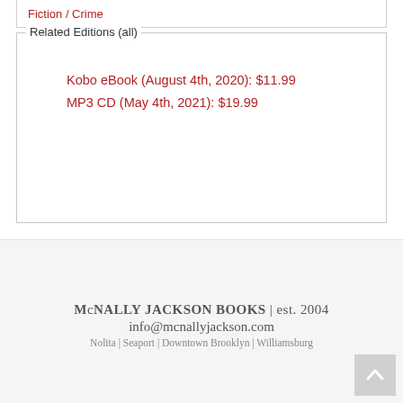Fiction / Crime
Related Editions (all)
Kobo eBook (August 4th, 2020): $11.99
MP3 CD (May 4th, 2021): $19.99
McNALLY JACKSON BOOKS | est. 2004
info@mcnallyjackson.com
Nolita | Seaport | Downtown Brooklyn | Williamsburg